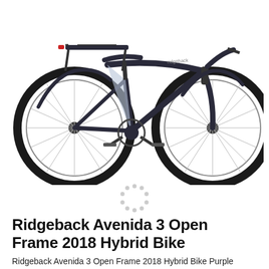[Figure (photo): A Ridgeback Avenida 3 Open Frame 2018 Hybrid Bike in dark navy/black color with a rear rack, fenders, and light blue accent on the frame step-through area, shown in profile view on a white background.]
[Figure (other): A circular loading spinner icon made of small dots arranged in a circle, indicating a loading state for additional images.]
Ridgeback Avenida 3 Open Frame 2018 Hybrid Bike
Ridgeback Avenida 3 Open Frame 2018 Hybrid Bike Purple